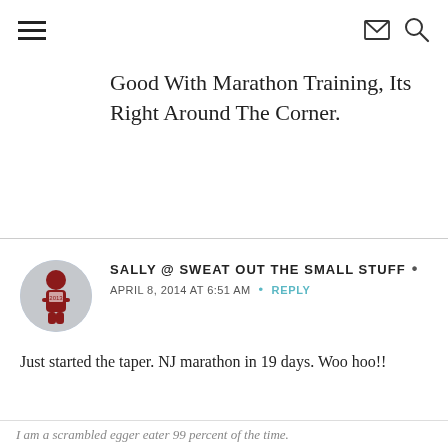≡  ✉  🔍
Good With Marathon Training, Its Right Around The Corner.
SALLY @ SWEAT OUT THE SMALL STUFF •
APRIL 8, 2014 AT 6:51 AM  •  REPLY
Just started the taper. NJ marathon in 19 days. Woo hoo!!
I am a scrambled egger eater 99 percent of the time.